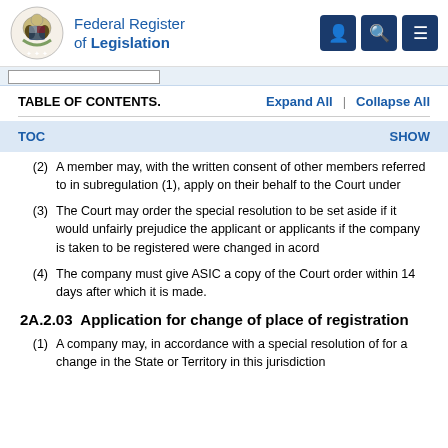Federal Register of Legislation
TABLE OF CONTENTS.    Expand All  |  Collapse All
TOC    SHOW
(2) A member may, with the written consent of other members referred to in subregulation (1), apply on their behalf to the Court under
(3) The Court may order the special resolution to be set aside if it would unfairly prejudice the applicant or applicants if the company is taken to be registered were changed in accor
(4) The company must give ASIC a copy of the Court order within 14 days after which it is made.
2A.2.03  Application for change of place of registration
(1) A company may, in accordance with a special resolution, apply for a change in the State or Territory in this jurisdiction